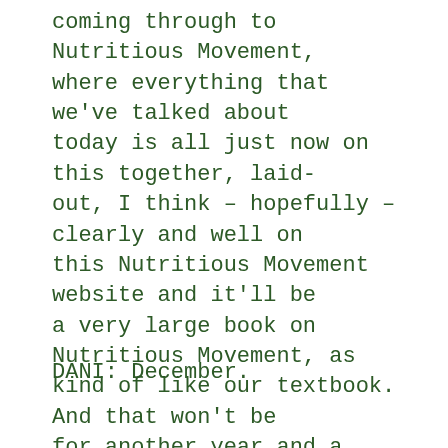coming through to Nutritious Movement, where everything that we've talked about today is all just now on this together, laid-out, I think – hopefully – clearly and well on this Nutritious Movement website and it'll be a very large book on Nutritious Movement, as kind of like our textbook. And that won't be for another year and a half, but yeah – so that's – that's what's going on, and by the time – when will this one be coming out? Will this be out in November?
DANI: December.